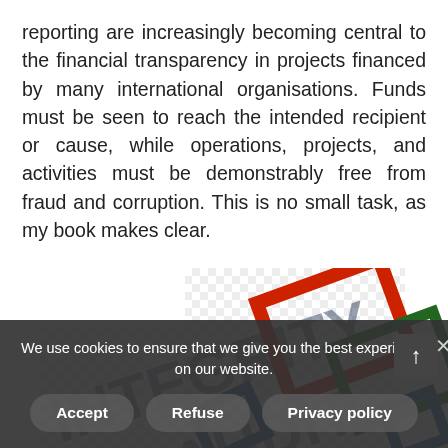reporting are increasingly becoming central to the financial transparency in projects financed by many international organisations. Funds must be seen to reach the intended recipient or cause, while operations, projects, and activities must be demonstrably free from fraud and corruption. This is no small task, as my book makes clear.
[Figure (illustration): A logo/illustration with overlapping diamond/rectangle shapes in red, green, and blue colors on a checkered (transparent) background, with dark blue diagonal text in the background.]
We use cookies to ensure that we give you the best experience on our website.
Accept
Refuse
Privacy policy